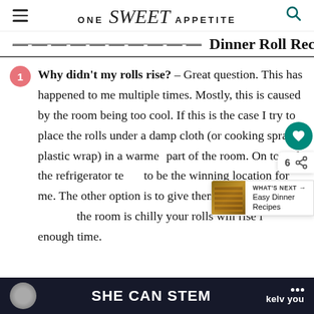ONE Sweet APPETITE
Dinner Roll Recipe Tips
Why didn't my rolls rise? – Great question. This has happened to me multiple times. Mostly, this is caused by the room being too cool. If this is the case I try to place the rolls under a damp cloth (or cooking sprayed plastic wrap) in a warmer part of the room. On top of the refrigerator tends to be the winning location for me. The other option is to give them a little more time. Even if the room is chilly your rolls will rise in enough time.
SHE CAN STEM